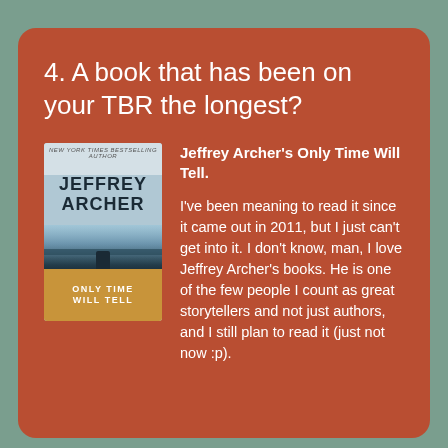4. A book that has been on your TBR the longest?
[Figure (illustration): Book cover of 'Only Time Will Tell' by Jeffrey Archer. Dark blue/teal background with a figure on a bridge, orange title band at bottom.]
Jeffrey Archer's Only Time Will Tell.

I've been meaning to read it since it came out in 2011, but I just can't get into it. I don't know, man, I love Jeffrey Archer's books. He is one of the few people I count as great storytellers and not just authors, and I still plan to read it (just not now :p).